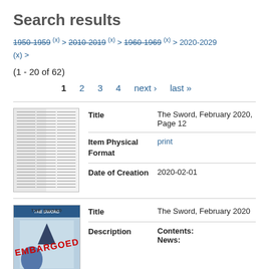Search results
1950-1959 (x) > 2010-2019 (x) > 1960-1969 (x) > 2020-2029 (x) >
(1 - 20 of 62)
1  2  3  4  next ›  last »
|  | Field | Value |
| --- | --- | --- |
| [thumbnail] | Title | The Sword, February 2020, Page 12 |
|  | Item Physical Format | print |
|  | Date of Creation | 2020-02-01 |
|  | Field | Value |
| --- | --- | --- |
| [EMBARGOED thumbnail] | Title | The Sword, February 2020 |
|  | Description | Contents:
News: |